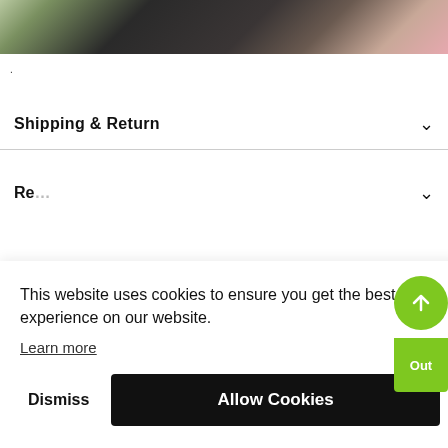[Figure (photo): Partial photo of a wrist wearing a watch, with items on a surface, cropped at top of page]
.
Shipping & Return
Re...
This website uses cookies to ensure you get the best experience on our website.
Learn more
Dismiss
Allow Cookies